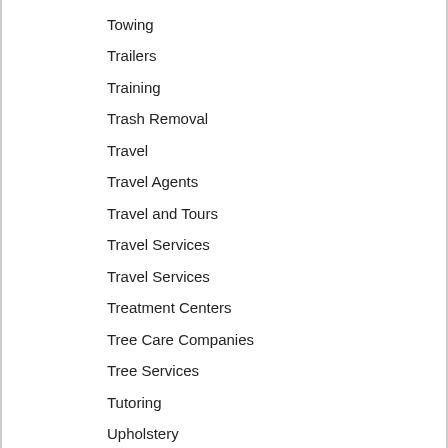Towing
Trailers
Training
Trash Removal
Travel
Travel Agents
Travel and Tours
Travel Services
Travel Services
Treatment Centers
Tree Care Companies
Tree Services
Tutoring
Upholstery
Upholstery Cleaning